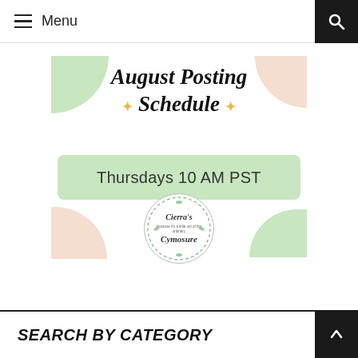Menu
[Figure (infographic): August Posting Schedule infographic with decorative green and peach shapes, script title text reading 'August Posting Schedule', yellow sparkle icons, a green highlighted bar reading 'Thursdays 10 AM PST', and a circular logo for Cierra's Cymosure at the bottom center.]
SEARCH BY CATEGORY